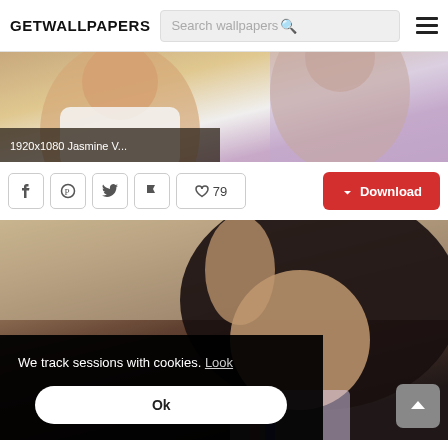GETWALLPAPERS
[Figure (screenshot): Wallpaper thumbnail showing a woman in white dress with purple background, labeled 1920x1080 Jasmine V...]
1920x1080 Jasmine V...
♡ 79
↓ Download
[Figure (photo): Photo of a woman with dark hair tossing it, wearing colorful top, with a cookie consent overlay]
We track sessions with cookies. Look
Ok